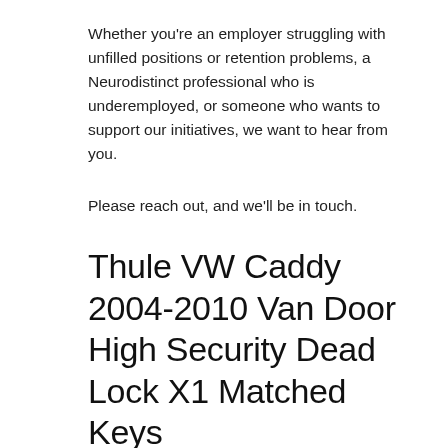Whether you're an employer struggling with unfilled positions or retention problems, a Neurodistinct professional who is underemployed, or someone who wants to support our initiatives, we want to hear from you.
Please reach out, and we'll be in touch.
Thule VW Caddy 2004-2010 Van Door High Security Dead Lock X1 Matched Keys
2013 on SWB Tailored Black Rubber 3mm Floor Mats 4pc for Mercedes S Class
Turbo Blow Off Valve Dump Adaptor for 1.4T 1.8T 2.0T Engines for Audi EGIT